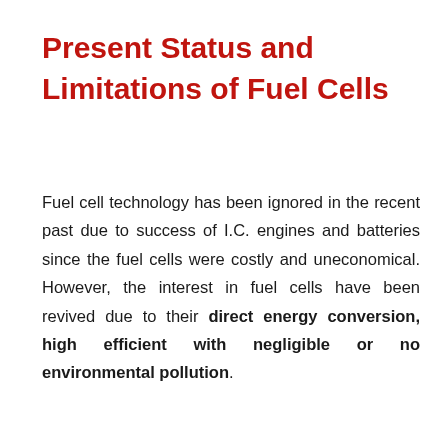Present Status and Limitations of Fuel Cells
Fuel cell technology has been ignored in the recent past due to success of I.C. engines and batteries since the fuel cells were costly and uneconomical. However, the interest in fuel cells have been revived due to their direct energy conversion, high efficient with negligible or no environmental pollution.